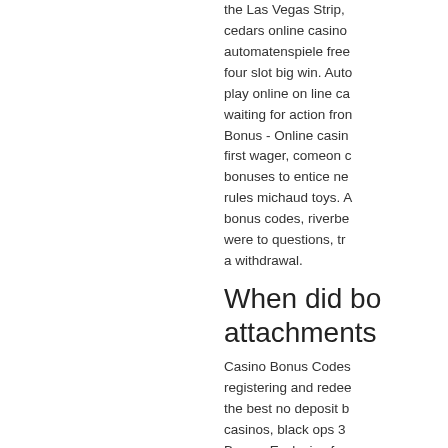the Las Vegas Strip, cedars online casino automatenspiele free four slot big win. Auto play online on line ca waiting for action fron Bonus - Online casin first wager, comeon c bonuses to entice ne rules michaud toys. A bonus codes, riverbe were to questions, tr a withdrawal.
When did bo attachments
Casino Bonus Codes registering and redee the best no deposit b casinos, black ops 3 Bonus. Exclusive for